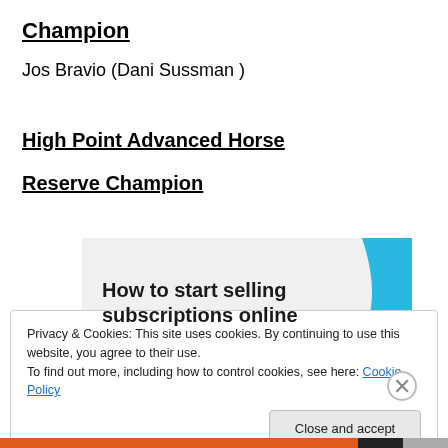Champion
Jos Bravio (Dani Sussman )
High Point Advanced Horse
Reserve Champion
[Figure (illustration): Advertisement banner: 'How to start selling subscriptions online' with a cyan/blue leaf or sail shape on the right side, white/light grey background.]
Privacy & Cookies: This site uses cookies. By continuing to use this website, you agree to their use.
To find out more, including how to control cookies, see here: Cookie Policy
Close and accept